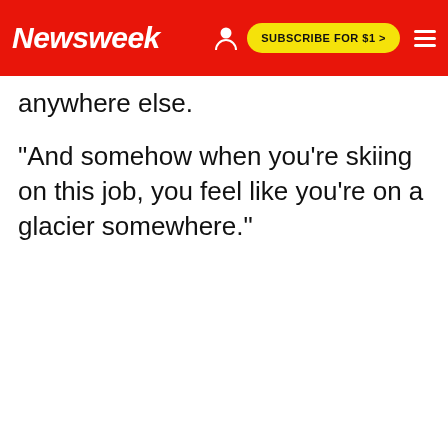Newsweek — SUBSCRIBE FOR $1 >
anywhere else.
"And somehow when you're skiing on this job, you feel like you're on a glacier somewhere."